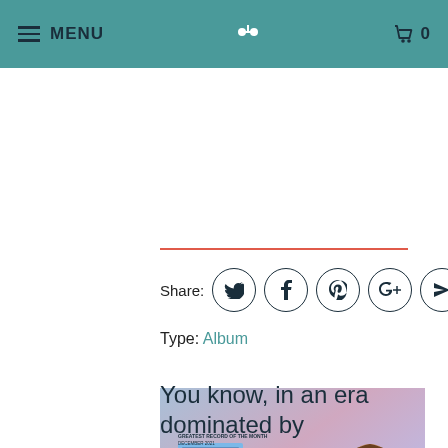MENU | [logo] | 0
Share:
Type: Album
[Figure (photo): Band photo of Wilderado with album cover art, three male band members standing in front of a colorful background]
You know, in an era dominated by